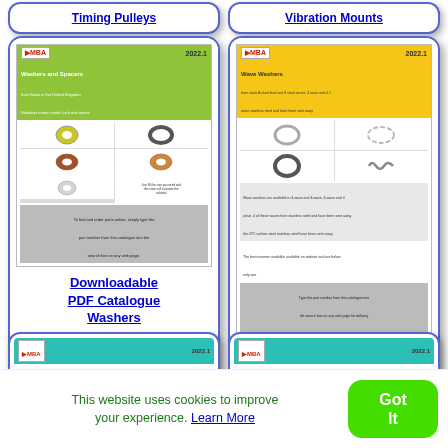Timing Pulleys
Vibration Mounts
[Figure (illustration): MBA 2022.1 Washers and Spacers catalogue cover thumbnail]
Downloadable PDF Catalogue Washers
[Figure (illustration): MBA 2022.1 Wave Washers catalogue cover thumbnail]
Downloadable PDF Catalogue Wave Washers
[Figure (illustration): MBA 2022.1 catalogue partial thumbnail (bottom left)]
[Figure (illustration): MBA 2022.1 catalogue partial thumbnail (bottom right)]
This website uses cookies to improve your experience. Learn More
Got It